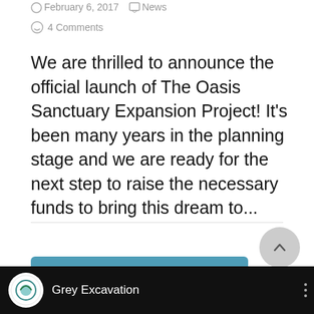February 6, 2017   News
4 Comments
We are thrilled to announce the official launch of The Oasis Sanctuary Expansion Project! It's been many years in the planning stage and we are ready for the next step to raise the necessary funds to bring this dream to...
Read More
[Figure (other): Grey Excavation video thumbnail with Oasis logo on black background]